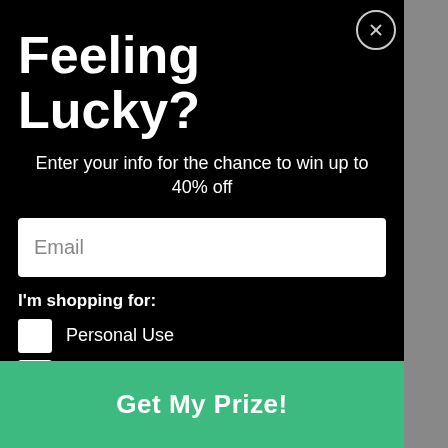Feeling Lucky?
Enter your info for the chance to win up to 40% off
Email
I'm shopping for:
Personal Use
Professional Use
Gift/Other
Get My Prize!